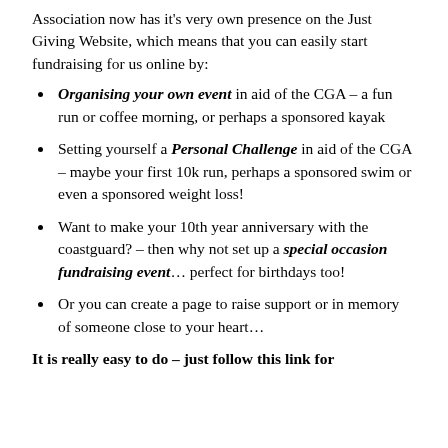Association now has it's very own presence on the Just Giving Website, which means that you can easily start fundraising for us online by:
Organising your own event in aid of the CGA – a fun run or coffee morning, or perhaps a sponsored kayak
Setting yourself a Personal Challenge in aid of the CGA – maybe your first 10k run, perhaps a sponsored swim or even a sponsored weight loss!
Want to make your 10th year anniversary with the coastguard? – then why not set up a special occasion fundraising event… perfect for birthdays too!
Or you can create a page to raise support or in memory of someone close to your heart…
It is really easy to do – just follow this link for